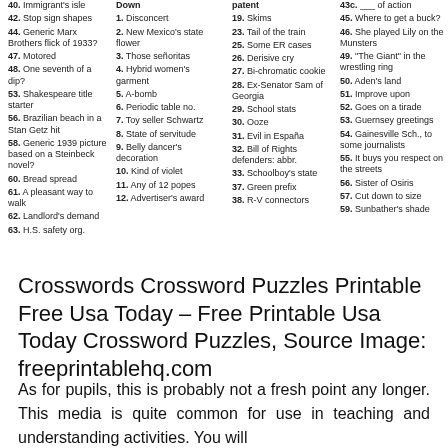40. Immigrant's isle
42. Stop sign shapes
44. Generic Marx Brothers flick of 1933?
47. Motored
48. One seventh of a dip?
53. Shakespeare title starter
56. Brazilian beach in a Stan Getz hit
58. Generic 1939 picture based on a Steinbeck novel?
60. Bread spread
61. A pleasant way to walk
62. Landlord's demand
63. H.S. safety org.
Down
1. Disconcert
2. New Mexico's state flower
3. Those señoritas
4. Hybrid women's garment
5. A-bomb
6. Periodic table no.
7. Toy seller Schwartz
8. State of servitude
9. Belly dancer's decoration
10. Kind of violet
11. Any of 12 popes
12. Advertiser's award
19. Skims
23. Tail of the train
25. Some ER cases
26. Derisive cry
27. Bi-chromatic cookie
28. Ex-Senator Sam of Georgia
29. School stats
30. Ooze
31. Evil in España
32. Bill of Rights defenders: abbr.
33. Schoolboy's state
37. Green prefix
38. R-V connectors
43c. ___ of action
45. Where to get a buck?
46. She played Lily on the Munsters
49. "The Giant" in the wrestling ring
50. Aden's land
51. Improve upon
52. Goes on a tirade
53. Guernsey greetings
54. Gainesville Sch., to some journalists
55. It buys you respect on the streets
56. Sister of Osiris
57. Cut down to size
59. Sunbather's shade
Crosswords Crossword Puzzles Printable Free Usa Today – Free Printable Usa Today Crossword Puzzles, Source Image: freeprintablehq.com
As for pupils, this is probably not a fresh point any longer. This media is quite common for use in teaching and understanding activities. You will